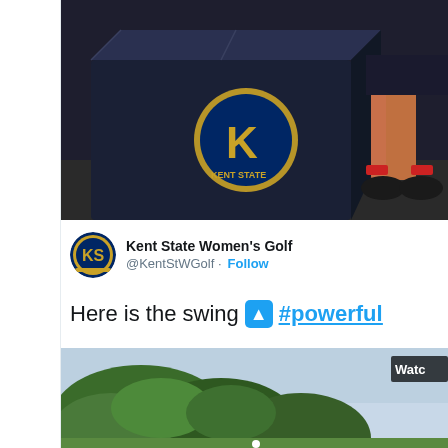[Figure (photo): Dark navy blue plyo box with Kent State golden eagle logo on it, person's legs visible behind box standing on gym floor]
Kent State Women's Golf @KentStWGolf · Follow
Here is the swing 🔼 #powerful
[Figure (photo): Golf swing video screenshot showing trees in background with 'Watc' label visible in top right corner]